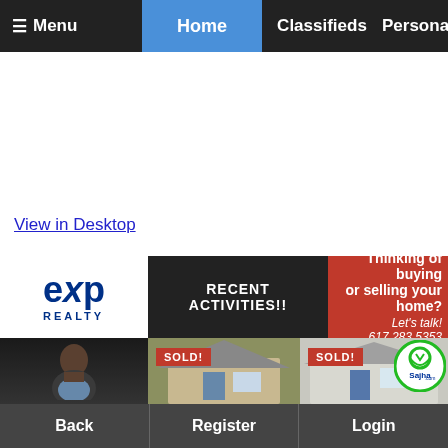☰ Menu  Home  Classifieds  Personals
View in Desktop
[Figure (screenshot): eXp Realty logo with Recent Activities banner and Thinking of buying or selling your home? Let's talk! 617.283.5353 advertisement]
[Figure (photo): Agent headshot and two SOLD real estate property photos with Sajha.com logo circle]
Back  Register  Login